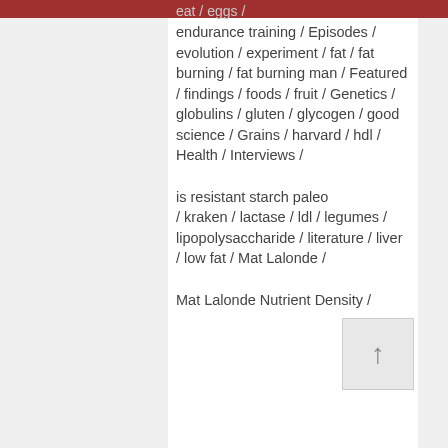eat / eggs /
endurance training / Episodes / evolution / experiment / fat / fat burning / fat burning man / Featured / findings / foods / fruit / Genetics / globulins / gluten / glycogen / good science / Grains / harvard / hdl / Health / Interviews / is resistant starch paleo / kraken / lactase / ldl / legumes / lipopolysaccharide / literature / liver / low fat / Mat Lalonde / Mat Lalonde Nutrient Density /